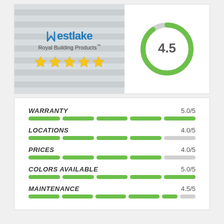[Figure (logo): Westlake Royal Building Products logo with 5 stars on a gray striped background]
[Figure (donut-chart): Overall score]
[Figure (infographic): Rating bars for WARRANTY 5.0/5, LOCATIONS 4.0/5, PRICES 4.0/5, COLORS AVAILABLE 5.0/5, MAINTENANCE 4.5/5]